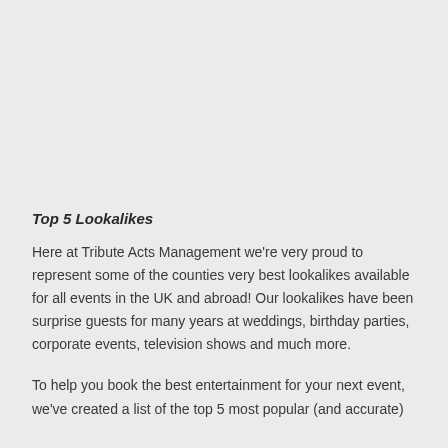Top 5 Lookalikes
Here at Tribute Acts Management we're very proud to represent some of the counties very best lookalikes available for all events in the UK and abroad! Our lookalikes have been surprise guests for many years at weddings, birthday parties, corporate events, television shows and much more.
To help you book the best entertainment for your next event, we've created a list of the top 5 most popular (and accurate)